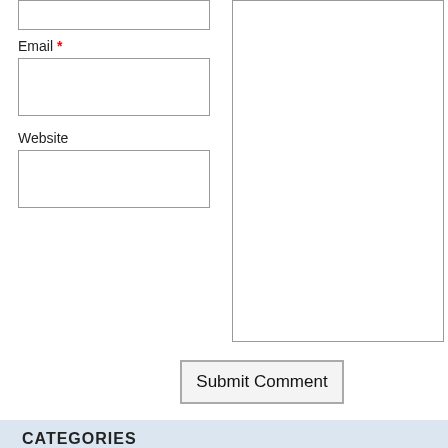Email *
Website
Submit Comment
CATEGORIES
1_1
12000-all
12002-all
4000
7rules_4
Antivirus P...
best lesbian web site
Best Paper Writing Service
blog
Custom Writing Paper
Dating Sites For Singles
Custom Wi...
Essay Wri...